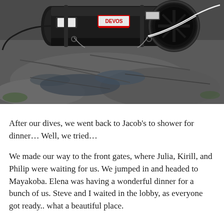[Figure (photo): A black cylindrical underwater scooter or thruster device with a 'DEVOS' label sticker, white rope/cable attached, resting on wet rocky surface with water around it.]
After our dives, we went back to Jacob's to shower for dinner… Well, we tried…
We made our way to the front gates, where Julia, Kirill, and Philip were waiting for us. We jumped in and headed to Mayakoba. Elena was having a wonderful dinner for a bunch of us. Steve and I waited in the lobby, as everyone got ready.. what a beautiful place.